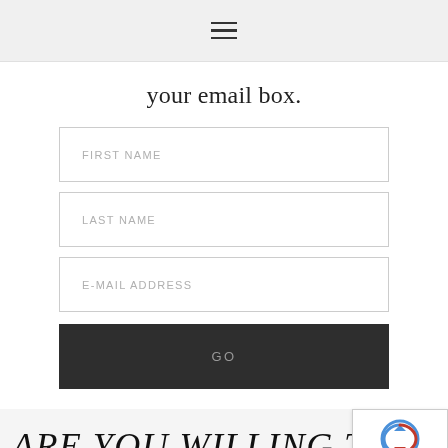≡ (hamburger menu icon)
your email box.
[Figure (other): Web form with fields FIRST NAME, LAST NAME, E-MAIL ADDRESS and a GO button]
ARE YOU WILLING TO PAY TH…
[Figure (other): reCAPTCHA badge with Privacy - Terms]